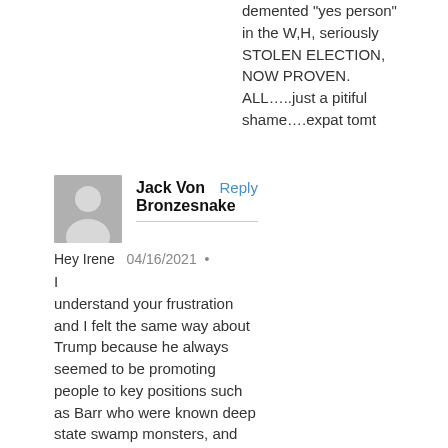demented "yes person" in the W,H, seriously STOLEN ELECTION, NOW PROVEN. ALL…..just a pitiful shame….expat tomt
[Figure (illustration): Generic gray user avatar silhouette icon]
Jack Von Bronzesnake   Reply
Hey Irene   04/16/2021  •
I understand your frustration and I felt the same way about Trump because he always seemed to be promoting people to key positions such as Barr who were known deep state swamp monsters, and this drove me nuts!